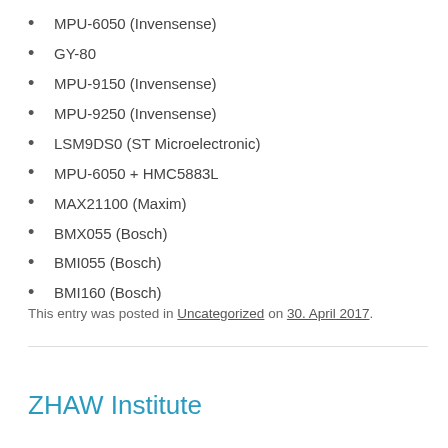MPU-6050 (Invensense)
GY-80
MPU-9150 (Invensense)
MPU-9250 (Invensense)
LSM9DS0 (ST Microelectronic)
MPU-6050 + HMC5883L
MAX21100 (Maxim)
BMX055 (Bosch)
BMI055 (Bosch)
BMI160 (Bosch)
This entry was posted in Uncategorized on 30. April 2017.
ZHAW Institute